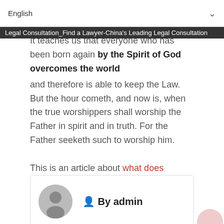English
Legal Consultation_Find a Lawyer-China's Leading Legal Consultation
It teaches us that everyone who has been born again by the Spirit of God overcomes the world and therefore is able to keep the Law. But the hour cometh, and now is, when the true worshippers shall worship the Father in spirit and in truth. For the Father seeketh such to worship him.
This is an article about what does mistake of law mean. Let's watch it together. If you have any questions, please remember to reply.
By admin